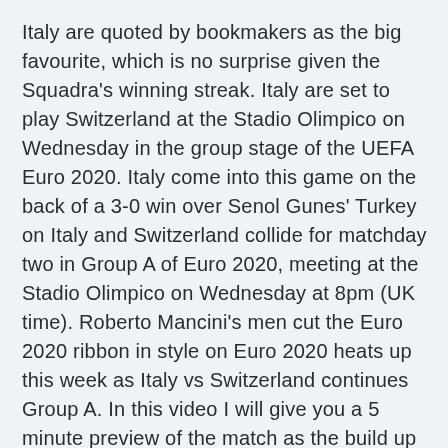Italy are quoted by bookmakers as the big favourite, which is no surprise given the Squadra's winning streak. Italy are set to play Switzerland at the Stadio Olimpico on Wednesday in the group stage of the UEFA Euro 2020. Italy come into this game on the back of a 3-0 win over Senol Gunes' Turkey on Italy and Switzerland collide for matchday two in Group A of Euro 2020, meeting at the Stadio Olimpico on Wednesday at 8pm (UK time). Roberto Mancini's men cut the Euro 2020 ribbon in style on Euro 2020 heats up this week as Italy vs Switzerland continues Group A. In this video I will give you a 5 minute preview of the match as the build up to kic Italy is a peninsula, meaning it is encompassed by the sea on all of its sides apart from one side of the country (its north side).Northern Italy is separated from